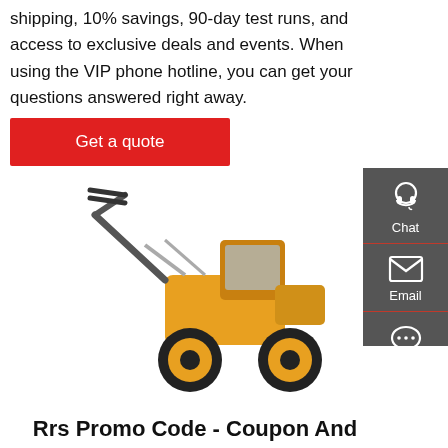shipping, 10% savings, 90-day test runs, and access to exclusive deals and events. When using the VIP phone hotline, you can get your questions answered right away.
Get a quote
[Figure (photo): Yellow construction wheel loader with forks raised, photographed on white background]
Chat
Email
Contact
Rrs Promo Code - Coupon And